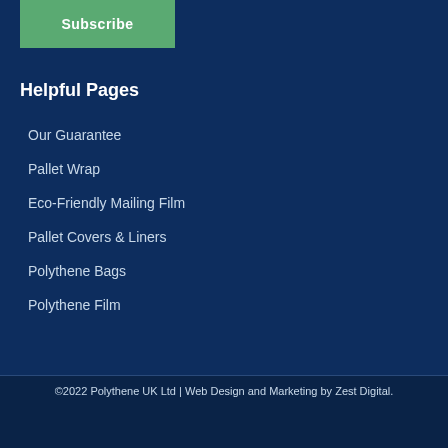Subscribe
Helpful Pages
Our Guarantee
Pallet Wrap
Eco-Friendly Mailing Film
Pallet Covers & Liners
Polythene Bags
Polythene Film
©2022 Polythene UK Ltd | Web Design and Marketing by Zest Digital.